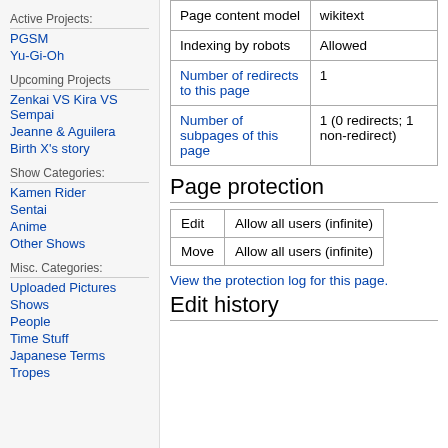Active Projects:
PGSM
Yu-Gi-Oh
Upcoming Projects
Zenkai VS Kira VS Sempai
Jeanne & Aguilera
Birth X's story
Show Categories:
Kamen Rider
Sentai
Anime
Other Shows
Misc. Categories:
Uploaded Pictures
Shows
People
Time Stuff
Japanese Terms
Tropes
|  |  |
| --- | --- |
| Page content model | wikitext |
| Indexing by robots | Allowed |
| Number of redirects to this page | 1 |
| Number of subpages of this page | 1 (0 redirects; 1 non-redirect) |
Page protection
|  |  |
| --- | --- |
| Edit | Allow all users (infinite) |
| Move | Allow all users (infinite) |
View the protection log for this page.
Edit history